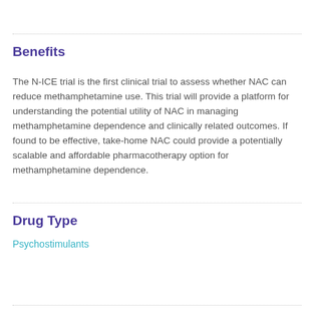Benefits
The N-ICE trial is the first clinical trial to assess whether NAC can reduce methamphetamine use. This trial will provide a platform for understanding the potential utility of NAC in managing methamphetamine dependence and clinically related outcomes. If found to be effective, take-home NAC could provide a potentially scalable and affordable pharmacotherapy option for methamphetamine dependence.
Drug Type
Psychostimulants